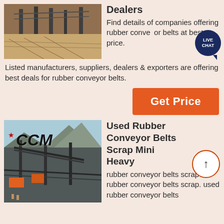[Figure (photo): Photo of industrial conveyor belt machinery at a quarry/mining site with orange sandy terrain]
Dealers
Find details of companies offering rubber conveyor belts at best price.
Listed manufacturers, suppliers, dealers & exporters are offering best deals for rubber conveyor belts.
[Figure (infographic): Orange Get Price button]
[Figure (photo): Photo of CCM branded mining/quarrying industrial facility with conveyor belts and mountains in background]
Used Rubber Conveyor Belts Scrap Mini Heavy
rubber conveyor belts scrap rubber conveyor belts scrap. used rubber conveyor belts